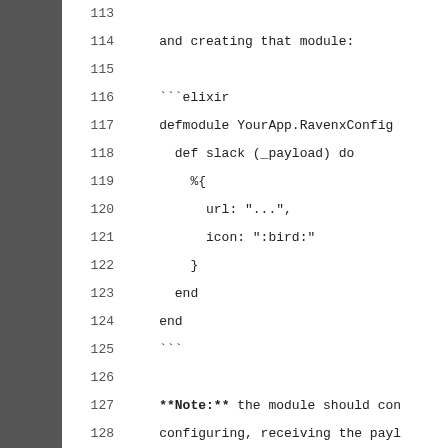113    (empty line)
114        and creating that module:
115    (empty line)
116        ```elixir
117        defmodule YourApp.RavenxConfig
118          def slack (_payload) do
119            %{
120              url: "...",
121              icon: ":bird:"
122            }
123          end
124        end
125        ```
126    (empty line)
127        **Note:** the module should con
128        configuring, receiving the payl
129    (empty line)
130    3. Specifying the configuration d
131    (empty line)
132        ```elixir
133        config :ravenx, :slack,
134          url: "...",